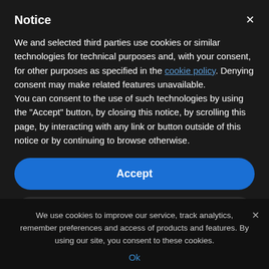Notice
We and selected third parties use cookies or similar technologies for technical purposes and, with your consent, for other purposes as specified in the cookie policy. Denying consent may make related features unavailable.
You can consent to the use of such technologies by using the "Accept" button, by closing this notice, by scrolling this page, by interacting with any link or button outside of this notice or by continuing to browse otherwise.
Accept
Learn more and customize
We use cookies to improve our service, track analytics, remember preferences and access of products and features. By using our site, you consent to these cookies.
Ok